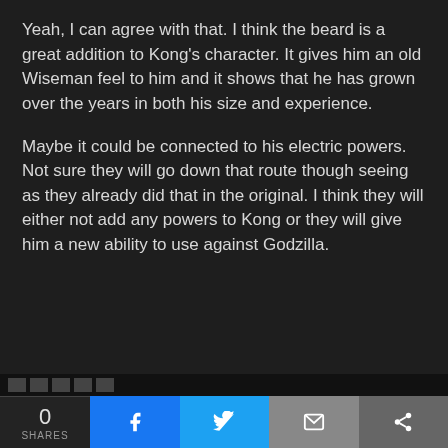Yeah, I can agree with that. I think the beard is a great addition to Kong's character. It gives him an old Wiseman feel to him and it shows that he has grown over the years in both his size and experience.
Maybe it could be connected to his electric powers. Not sure they will go down that route though seeing as they already did that in the original. I think they will either not add any powers to Kong or they will give him a new ability to use against Godzilla.
macumbalove
Baragon  Member  125 XP
Oct-16-2019 7:57 PM
Now the Millenium series, But first: @Gomi: Ninja
0 SHARES  f  t  (email)  (share)